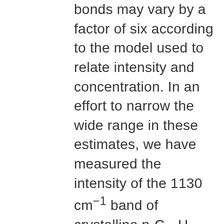bonds may vary by a factor of six according to the model used to relate intensity and concentration. In an effort to narrow the wide range in these estimates, we have measured the intensity of the 1130 cm⁻¹ band of crystalline n-C₂₁H₄₄ in its orthorhombic and hexagonal phases. On transition to the hexagonal phase, the intensity of the 1130 cm⁻¹ band is much reduced. It is assumed that the observed intensity